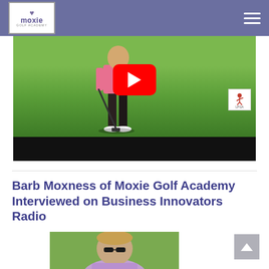Moxie Golf Academy — navigation header
[Figure (screenshot): YouTube video thumbnail showing a golfer putting on a green with a YouTube play button overlay and LPGA logo badge]
Barb Moxness of Moxie Golf Academy Interviewed on Business Innovators Radio
[Figure (photo): Photo of Barb Moxness leaning over in a lavender golf shirt with sunglasses, outdoors]